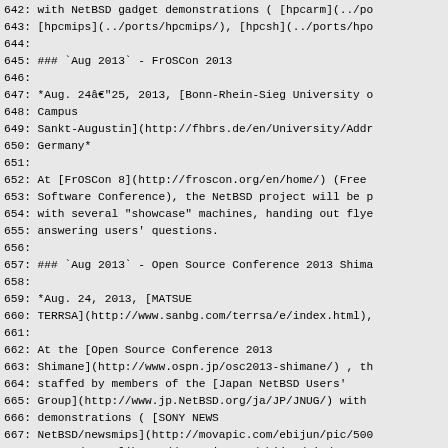642: with NetBSD gadget demonstrations ( [hpcarm](../po
643: [hpcmips](../ports/hpcmips/), [hpcsh](../ports/hpo
644:
645: ### `Aug 2013` - FrOSCon 2013
646:
647: *Aug. 24â€"25, 2013, [Bonn-Rhein-Sieg University o
648: Campus
649: Sankt-Augustin](http://fhbrs.de/en/University/Addr
650: Germany*
651:
652: At [FrOSCon 8](http://froscon.org/en/home/) (Free
653: Software Conference), the NetBSD project will be p
654: with several "showcase" machines, handing out flye
655: answering users' questions.
656:
657: ### `Aug 2013` - Open Source Conference 2013 Shima
658:
659: *Aug. 24, 2013, [MATSUE
660: TERRSA](http://www.sanbg.com/terrsa/e/index.html),
661:
662: At the [Open Source Conference 2013
663: Shimane](http://www.ospn.jp/osc2013-shimane/) , th
664: staffed by members of the [Japan NetBSD Users'
665: Group](http://www.jp.NetBSD.org/ja/JP/JNUG/) with
666: demonstrations ( [SONY NEWS
667: NetBSD/newsmips](http://movapic.com/ebijun/pic/500
668: NetBSD/sparc](http://movapic.com/ebijun/pic/500335
669: NetBSD/luna68k](http://movapic.com/ebijun/pic/5003
670: NetBSD/x68k](http://movapic.com/ebijun/pic/5003189
671: hardfloat